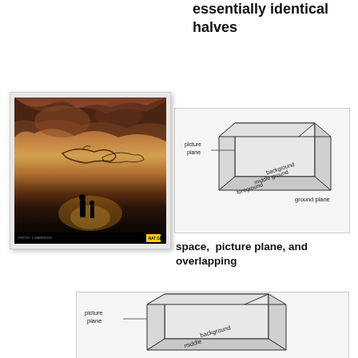essentially identical halves
[Figure (photo): Cave painting photograph showing ancient animal paintings on cave walls with a silhouetted human figure, National Geographic photo]
[Figure (illustration): 3D box diagram showing picture plane, background, middle ground, foreground, and ground plane labels]
space,  picture plane, and overlapping
[Figure (illustration): Larger 3D box diagram showing picture plane, background, middle ground labels, partial view]